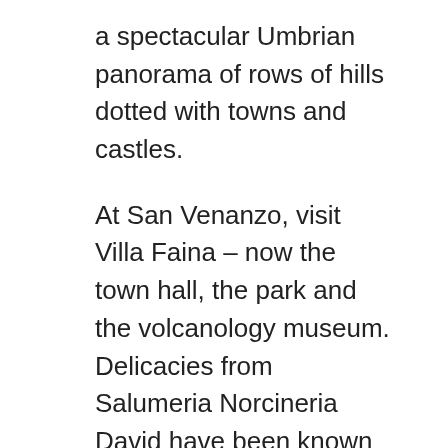a spectacular Umbrian panorama of rows of hills dotted with towns and castles.
At San Venanzo, visit Villa Faina – now the town hall, the park and the volcanology museum. Delicacies from Salumeria Norcineria David have been known to travel abroad (vacuum packed) with foreign guests and have reached as far as Great Britain and The Netherlands! The Sella di San Venanzo, prosciutto di Cinta, Capocollo. Pigna del Monte Peglia, typical Umbrian salame and wild boar salame are famous in the area.
Continuing towards Todi you will reach Castello di Collelungo where it